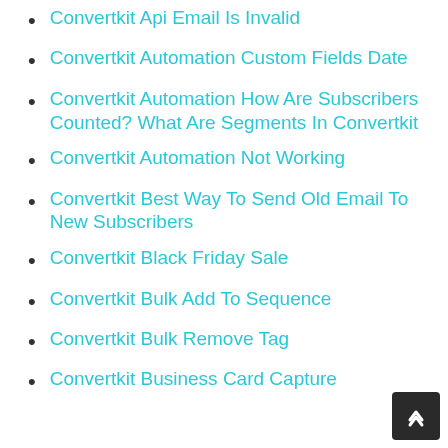Convertkit Api Email Is Invalid
Convertkit Automation Custom Fields Date
Convertkit Automation How Are Subscribers Counted? What Are Segments In Convertkit
Convertkit Automation Not Working
Convertkit Best Way To Send Old Email To New Subscribers
Convertkit Black Friday Sale
Convertkit Bulk Add To Sequence
Convertkit Bulk Remove Tag
Convertkit Business Card Capture